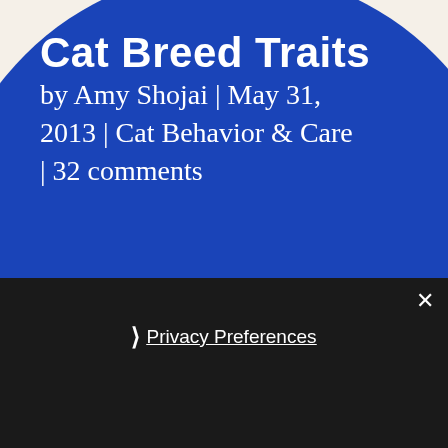Cat Breed Traits
by Amy Shojai | May 31, 2013 | Cat Behavior & Care | 32 comments
Privacy Preferences
I Agree